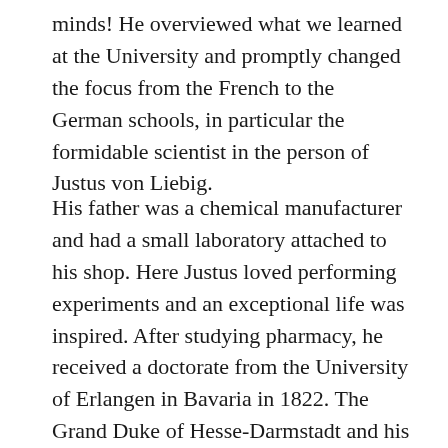minds! He overviewed what we learned at the University and promptly changed the focus from the French to the German schools, in particular the formidable scientist in the person of Justus von Liebig.
His father was a chemical manufacturer and had a small laboratory attached to his shop. Here Justus loved performing experiments and an exceptional life was inspired. After studying pharmacy, he received a doctorate from the University of Erlangen in Bavaria in 1822. The Grand Duke of Hesse-Darmstadt and his ministers noticed him and funded his further studies in chemistry under Joseph-Louis Gay-Lussac in Paris between 1822 and 1824. Gay-